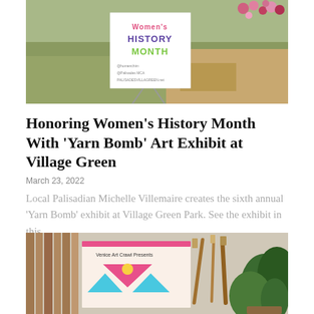[Figure (photo): Outdoor photo showing a Women's History Month sign on a stand in a grassy area, with colorful flowers in the background. Sign reads 'Women's History Month' with social media handles below.]
Honoring Women's History Month With 'Yarn Bomb' Art Exhibit at Village Green
March 23, 2022
Local Palisadian Michelle Villemaire creates the sixth annual 'Yarn Bomb' exhibit at Village Green Park. See the exhibit in this...
[Figure (photo): Indoor photo showing a Venice Art Crawl Presents sign with colorful geometric triangle design (pink, light blue, yellow circle), alongside paint brushes and a green plant in the background.]